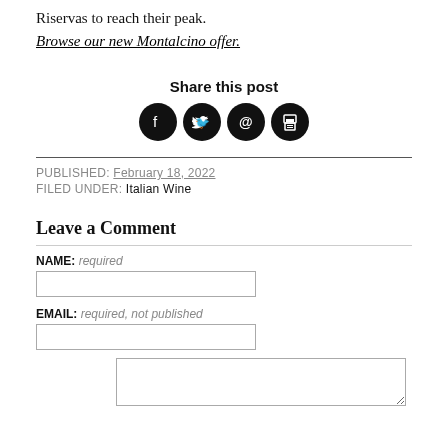Riservas to reach their peak.
Browse our new Montalcino offer.
Share this post
[Figure (infographic): Four social sharing icon circles: Facebook, Twitter, email (@), and print]
PUBLISHED: February 18, 2022
FILED UNDER: Italian Wine
Leave a Comment
NAME: required
EMAIL: required, not published